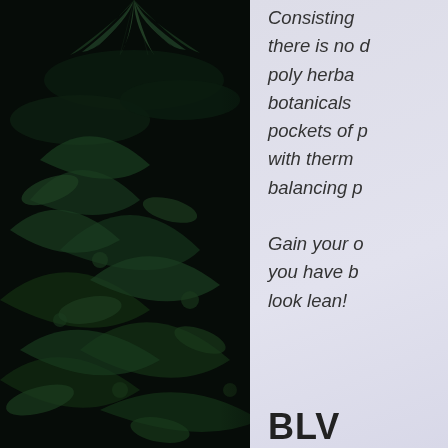[Figure (photo): Dark green tropical foliage and leaves against a very dark/black background, viewed from above. Dense plants with various leaf shapes.]
Consisting of there is no d poly herba botanicals pockets of p with therm balancing p Gain your o you have b look lean!
BLV